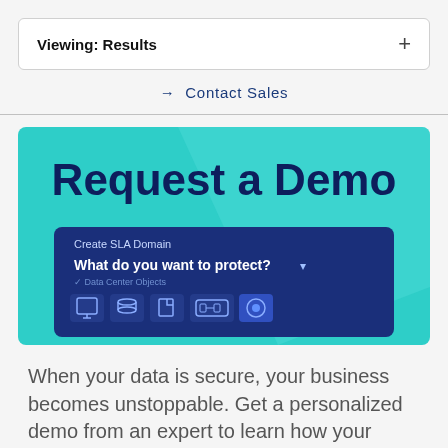Viewing: Results
→ Contact Sales
[Figure (screenshot): Request a Demo banner with teal background showing a UI card titled 'Create SLA Domain' with a dropdown 'What do you want to protect?' and Data Center Objects icons below]
When your data is secure, your business becomes unstoppable. Get a personalized demo from an expert to learn how your